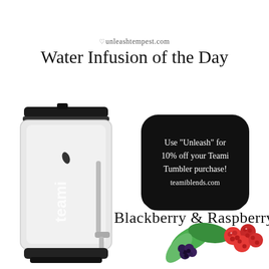♡unleashtempest.com
Water Infusion of the Day
[Figure (photo): A clear Teami brand tumbler/water bottle with a black lid and a white wrist strap, shown on a white background.]
[Figure (infographic): Black cloud/badge shape containing promotional text: Use "Unleash" for 10% off your Teami Tumbler purchase! teamiblends.com]
Blackberry & Raspberry
[Figure (photo): Fresh blackberries and raspberries with green leaves, arranged in the lower right corner.]